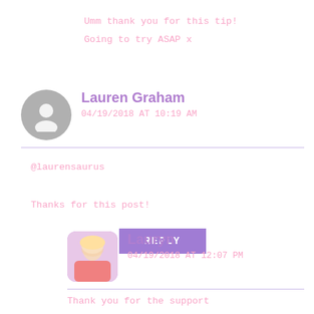Umm thank you for this tip!
Going to try ASAP x
Lauren Graham
04/19/2018 AT 10:19 AM
@laurensaurus

Thanks for this post!
REPLY
Lauryn
04/19/2018 AT 12:07 PM
Thank you for the support